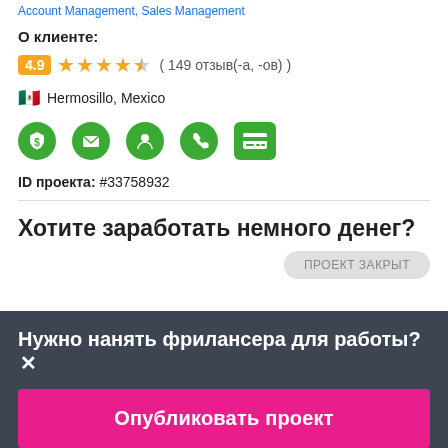Account Management, Sales Management
О клиенте:
4.9 ★★★★★ ( 149 отзыв(-а, -ов) )
🇲🇽 Hermosillo, Mexico
[Figure (infographic): Five green circular icons: dollar shield, envelope, person, phone, credit card]
ID проекта: #33758932
Хотите заработать немного денег?
ПРОЕКТ ЗАКРЫТ
Нужно нанять фрилансера для работы?✕
Опубликовать проект